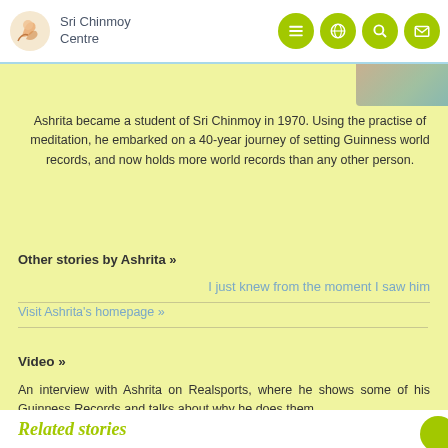Sri Chinmoy Centre
[Figure (photo): Partial photo visible at top right of content area]
Ashrita became a student of Sri Chinmoy in 1970. Using the practise of meditation, he embarked on a 40-year journey of setting Guinness world records, and now holds more world records than any other person.
Other stories by Ashrita »
I just knew from the moment I saw him
Visit Ashrita's homepage »
Video »
An interview with Ashrita on Realsports, where he shows some of his Guinness Records and talks about why he does them.
Play Video
Related stories